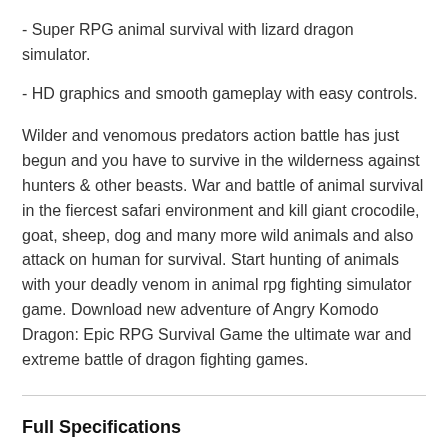- Super RPG animal survival with lizard dragon simulator.
- HD graphics and smooth gameplay with easy controls.
Wilder and venomous predators action battle has just begun and you have to survive in the wilderness against hunters & other beasts. War and battle of animal survival in the fiercest safari environment and kill giant crocodile, goat, sheep, dog and many more wild animals and also attack on human for survival. Start hunting of animals with your deadly venom in animal rpg fighting simulator game. Download new adventure of Angry Komodo Dragon: Epic RPG Survival Game the ultimate war and extreme battle of dragon fighting games.
Full Specifications